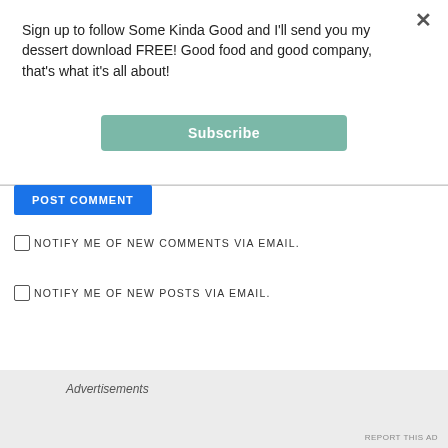Sign up to follow Some Kinda Good and I'll send you my dessert download FREE! Good food and good company, that's what it's all about!
[Figure (other): Subscribe button - rounded rectangle with teal/green background and white 'Subscribe' text]
[Figure (other): POST COMMENT button - blue rectangle with white uppercase text]
NOTIFY ME OF NEW COMMENTS VIA EMAIL.
NOTIFY ME OF NEW POSTS VIA EMAIL.
[Figure (other): Circle X close/report button]
Advertisements
REPORT THIS AD